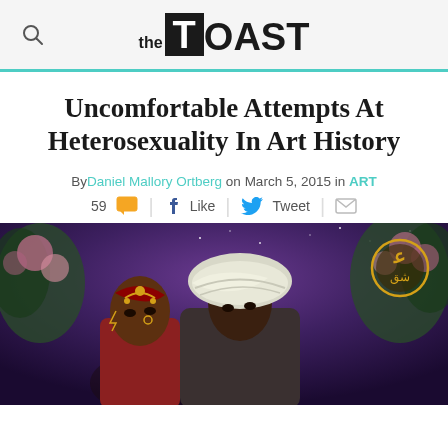the TOAST
Uncomfortable Attempts At Heterosexuality In Art History
By Daniel Mallory Ortberg on March 5, 2015 in ART
59 | Like | Tweet |
[Figure (photo): Romantic painting depicting a woman in traditional Indian bridal attire with jewelry and a man wearing a white turban, set against a night sky background with flowering trees. An ornate circular emblem appears in the upper right.]